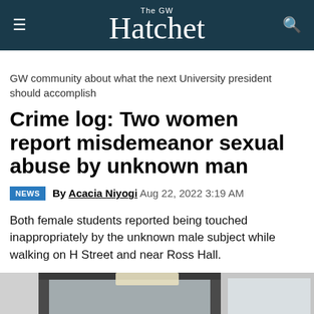The GW Hatchet
GW community about what the next University president should accomplish
Crime log: Two women report misdemeanor sexual abuse by unknown man
NEWS By Acacia Niyogi Aug 22, 2022 3:19 AM
Both female students reported being touched inappropriately by the unknown male subject while walking on H Street and near Ross Hall.
[Figure (photo): Photo of a glass door with a GW Student Association (SA) circular logo/seal on it, set in what appears to be a university building interior.]